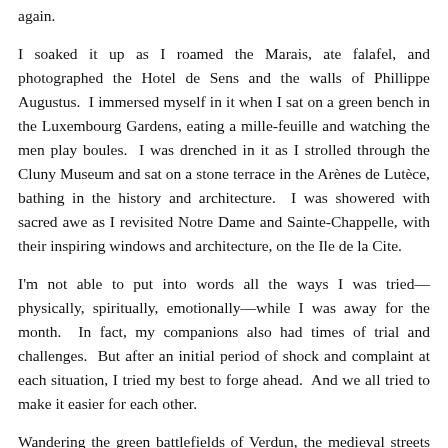again.
I soaked it up as I roamed the Marais, ate falafel, and photographed the Hotel de Sens and the walls of Phillippe Augustus.  I immersed myself in it when I sat on a green bench in the Luxembourg Gardens, eating a mille-feuille and watching the men play boules.  I was drenched in it as I strolled through the Cluny Museum and sat on a stone terrace in the Arènes de Lutèce, bathing in the history and architecture.  I was showered with sacred awe as I revisited Notre Dame and Sainte-Chappelle, with their inspiring windows and architecture, on the Ile de la Cite.
I'm not able to put into words all the ways I was tried—physically, spiritually, emotionally—while I was away for the month.  In fact, my companions also had times of trial and challenges.  But after an initial period of shock and complaint at each situation, I tried my best to forge ahead.  And we all tried to make it easier for each other.
Wandering the green battlefields of Verdun, the medieval streets of Strasbourg, Victor Hugo's apartment in the Place des Vosges, the alleys of Montmartre, and streets of the 6eixième, filled me with